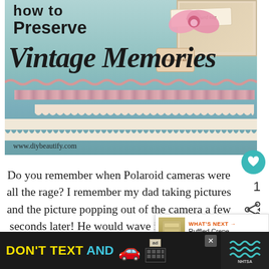[Figure (photo): Hero image for blog post 'How to Preserve Vintage Memories' on diybeautify.com. Shows a teal/aqua background with decorative pink ribbons, lace trim, vintage scrapbook elements, pink bow, and handwritten-style title text.]
Do you remember when Polaroid cameras were all the rage? I remember my dad taking pictures and the picture popping out of the camera a few seconds later! He would wave it around a little so it…
[Figure (infographic): WHAT'S NEXT → Ruffled Crepe Paper... tooltip with decorative paper image thumbnail]
[Figure (infographic): DON'T TEXT AND [car emoji] advertisement banner for NHTSA with close button and wave graphic on right side]